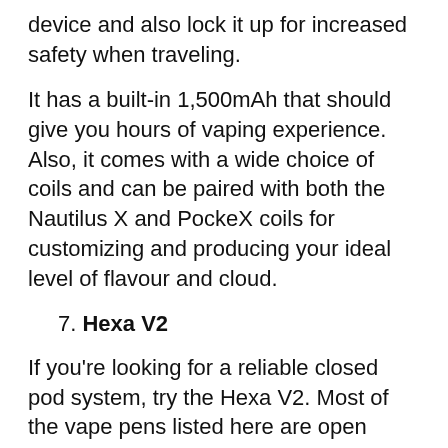device and also lock it up for increased safety when traveling.
It has a built-in 1,500mAh that should give you hours of vaping experience. Also, it comes with a wide choice of coils and can be paired with both the Nautilus X and PockeX coils for customizing and producing your ideal level of flavour and cloud.
7. Hexa V2
If you're looking for a reliable closed pod system, try the Hexa V2. Most of the vape pens listed here are open systems, which means you can refill the vape juice. In the case of Hexa V2, when the e-liquid runs out, you simply replace it with another one. This keeps